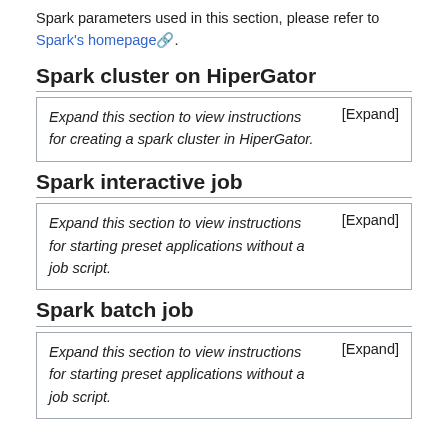Spark parameters used in this section, please refer to Spark's homepage.
Spark cluster on HiperGator
[Expand] Expand this section to view instructions for creating a spark cluster in HiperGator.
Spark interactive job
[Expand] Expand this section to view instructions for starting preset applications without a job script.
Spark batch job
[Expand] Expand this section to view instructions for starting preset applications without a job script.